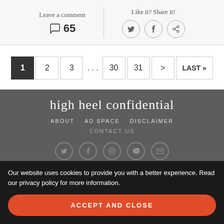Leave a comment
💬 65
Like it? Share it!
[Figure (other): Social share icons: Twitter, Facebook, WhatsApp in circles]
1  2  3  ...  30  31  >  LAST »
high heel confidential
ABOUT   AD SPACE   DISCLAIMER
CONTACT US
[Figure (other): Social media icons row: Twitter, Facebook, Instagram, YouTube, Mail]
Our website uses cookies to provide you with a better experience. Read our privacy policy for more information.
ACCEPT AND CLOSE